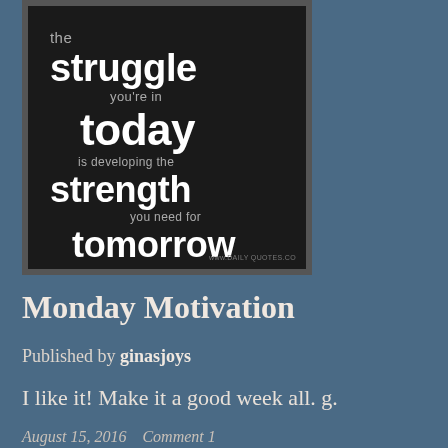[Figure (illustration): A dark motivational poster with black background. Text reads: 'the struggle you're in today is developing the strength you need for tomorrow' with alternating large bold white text and smaller grey text. Watermark: www.DAILY QUOTES.CO]
Monday Motivation
Published by ginasjoys
I like it!  Make it a good week all.  g.
August 15, 2016   Comment 1